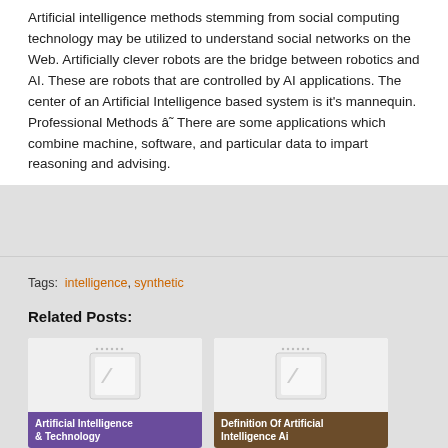Artificial intelligence methods stemming from social computing technology may be utilized to understand social networks on the Web. Artificially clever robots are the bridge between robotics and AI. These are robots that are controlled by AI applications. The center of an Artificial Intelligence based system is it's mannequin. Professional Methods â˜ There are some applications which combine machine, software, and particular data to impart reasoning and advising.
Tags: intelligence, synthetic
Related Posts:
[Figure (illustration): Card thumbnail showing a notebook/tablet illustration with purple title bar 'Artificial Intelligence & Technology']
[Figure (illustration): Card thumbnail showing a notebook/tablet illustration with brown title bar 'Definition Of Artificial Intelligence Ai']